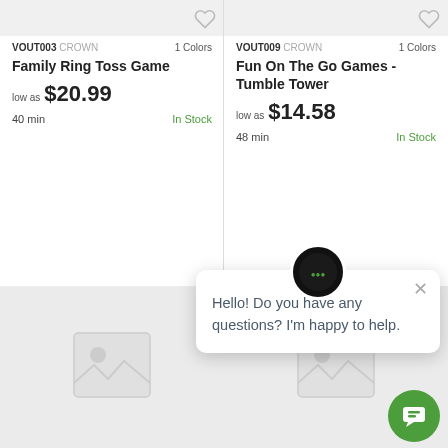[Figure (screenshot): Product listing page showing two items: Family Ring Toss Game (VOUT003) and Fun On The Go Games - Tumble Tower (VOUT009), with prices, stock status, and a chat popup overlay.]
VOUT003 CROWN  1 Colors
Family Ring Toss Game
low as $20.99
40 min  In Stock
VOUT009 CROWN  1 Colors
Fun On The Go Games - Tumble Tower
low as $14.58
48 min  In Stock
Hello! Do you have any questions? I'm happy to help.